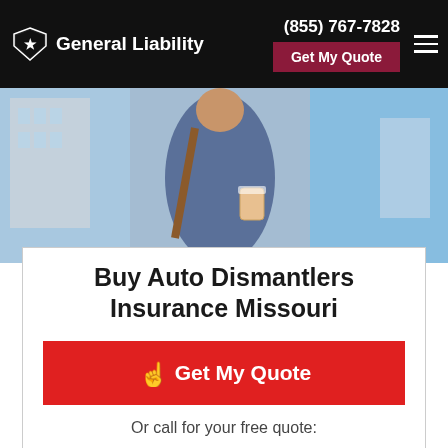General Liability | (855) 767-7828 | Get My Quote
[Figure (photo): A man in a denim jacket carrying a bag and a coffee cup, walking outdoors with a blurred city/blue sky background.]
Buy Auto Dismantlers Insurance Missouri
Get My Quote
Or call for your free quote:
(314) 499-6799
Get the best MO small business insurance quotes